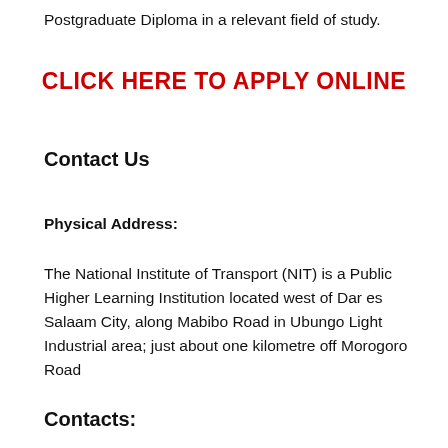Postgraduate Diploma in a relevant field of study.
CLICK HERE TO APPLY ONLINE
Contact Us
Physical Address:
The National Institute of Transport (NIT) is a Public Higher Learning Institution located west of Dar es Salaam City, along Mabibo Road in Ubungo Light Industrial area; just about one kilometre off Morogoro Road
Contacts: